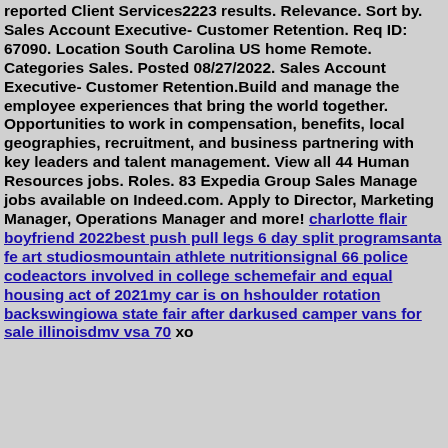reported Client Services2223 results. Relevance. Sort by. Sales Account Executive- Customer Retention. Req ID: 67090. Location South Carolina US home Remote. Categories Sales. Posted 08/27/2022. Sales Account Executive- Customer Retention.Build and manage the employee experiences that bring the world together. Opportunities to work in compensation, benefits, local geographies, recruitment, and business partnering with key leaders and talent management. View all 44 Human Resources jobs. Roles. 83 Expedia Group Sales Manage jobs available on Indeed.com. Apply to Director, Marketing Manager, Operations Manager and more! charlotte flair boyfriend 2022best push pull legs 6 day split programsanta fe art studiosmountain athlete nutritionsignal 66 police codeactors involved in college schemefair and equal housing act of 2021my car is on hshoulder rotation backswingiowa state fair after darkused camper vans for sale illinoisdmv vsa 70 xo